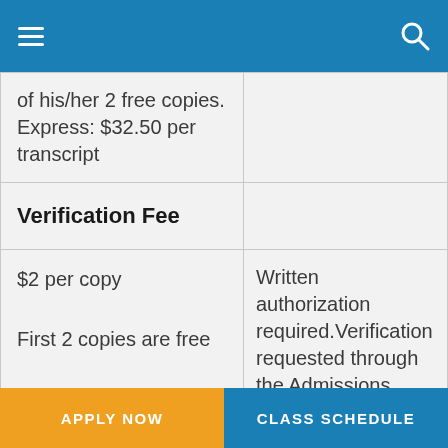| of his/her 2 free copies. Express: $32.50 per transcript |  |
| Verification Fee |  |
| $2 per copy

First 2 copies are free | Written authorization required.Verification requested through the Admissions... |
APPLY NOW | CLASS SCHEDULE